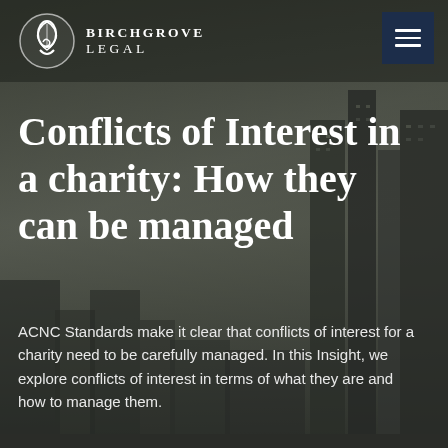BIRCHGROVE LEGAL
Conflicts of Interest in a charity: How they can be managed
ACNC Standards make it clear that conflicts of interest for a charity need to be carefully managed. In this Insight, we explore conflicts of interest in terms of what they are and how to manage them.